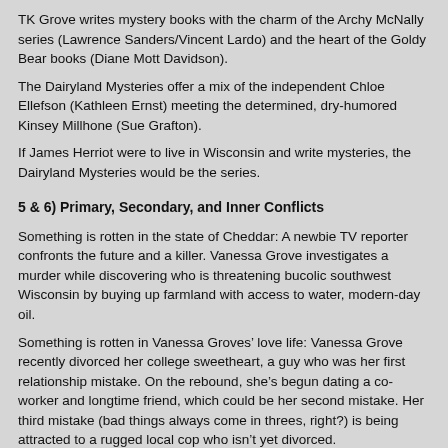TK Grove writes mystery books with the charm of the Archy McNally series (Lawrence Sanders/Vincent Lardo) and the heart of the Goldy Bear books (Diane Mott Davidson).
The Dairyland Mysteries offer a mix of the independent Chloe Ellefson (Kathleen Ernst) meeting the determined, dry-humored Kinsey Millhone (Sue Grafton).
If James Herriot were to live in Wisconsin and write mysteries, the Dairyland Mysteries would be the series.
5 & 6) Primary, Secondary, and Inner Conflicts
Something is rotten in the state of Cheddar: A newbie TV reporter confronts the future and a killer. Vanessa Grove investigates a murder while discovering who is threatening bucolic southwest Wisconsin by buying up farmland with access to water, modern-day oil.
Something is rotten in Vanessa Groves’ love life: Vanessa Grove recently divorced her college sweetheart, a guy who was her first relationship mistake. On the rebound, she’s begun dating a co-worker and longtime friend, which could be her second mistake. Her third mistake (bad things always come in threes, right?) is being attracted to a rugged local cop who isn’t yet divorced.
Something is rotten inside TV reporter Vanessa Grove: She divorced her college sweetheart and fled her safe corporate communications job to live